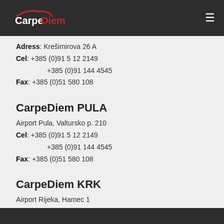CarpeDiem
Adress: Krešimirova 26 A
Cel: +385 (0)91 5 12 2149
+385 (0)91 144 4545
Fax: +385 (0)51 580 108
CarpeDiem PULA
Airport Pula, Valtursko p. 210
Cel: +385 (0)91 5 12 2149
+385 (0)91 144 4545
Fax: +385 (0)51 580 108
CarpeDiem KRK
Airport Rijeka, Hamec 1
Mob: +385 (0)91 5 12 2149
+385 (0)91 144 4545
Fax: +385 (0)51 580 108